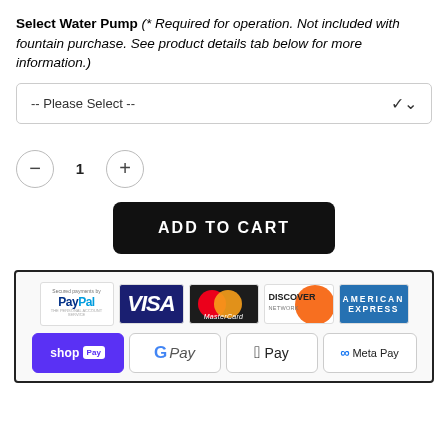Select Water Pump (* Required for operation. Not included with fountain purchase. See product details tab below for more information.)
-- Please Select --
- 1 +
ADD TO CART
[Figure (other): Payment method logos: PayPal, Visa, MasterCard, Discover, American Express (top row); Shop Pay, Google Pay, Apple Pay, Meta Pay (bottom row)]